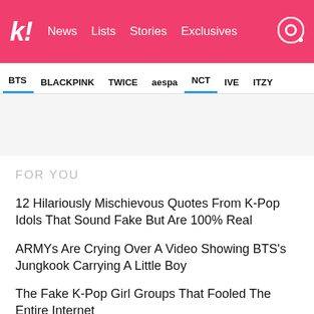Koreaboo — News | Lists | Stories | Exclusives
BTS
BLACKPINK
TWICE
aespa
NCT
IVE
ITZY
FOR YOU
12 Hilariously Mischievous Quotes From K-Pop Idols That Sound Fake But Are 100% Real
ARMYs Are Crying Over A Video Showing BTS's Jungkook Carrying A Little Boy
The Fake K-Pop Girl Groups That Fooled The Entire Internet
BLACKPINK's Lisa Wowed With Her Multilingual 2022 VMAs Speech, But BLINKs Noticed Something Heartwarming About Her Words